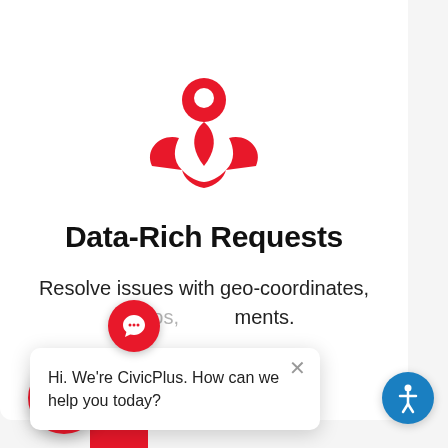[Figure (illustration): Red location pin icon with two hands/wings below it, representing geo-coordinated civic requests]
Data-Rich Requests
Resolve issues with geo-coordinates, photos, and attachments.
[Figure (screenshot): Chat popup overlay with red chat bubble icon and close X button, containing text: Hi. We're CivicPlus. How can we help you today?]
Hi. We're CivicPlus. How can we help you today?